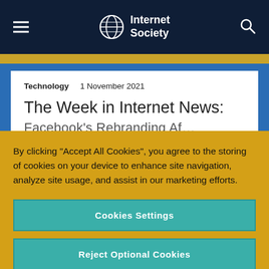Internet Society
Technology    1 November 2021
The Week in Internet News:
By clicking “Accept All Cookies”, you agree to the storing of cookies on your device to enhance site navigation, analyze site usage, and assist in our marketing efforts.
Cookies Settings
Reject Optional Cookies
Accept All Cookies